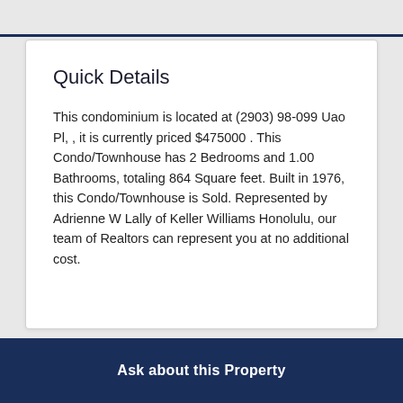Quick Details
This condominium is located at (2903) 98-099 Uao Pl, , it is currently priced $475000 . This Condo/Townhouse has 2 Bedrooms and 1.00 Bathrooms, totaling 864 Square feet. Built in 1976, this Condo/Townhouse is Sold. Represented by Adrienne W Lally of Keller Williams Honolulu, our team of Realtors can represent you at no additional cost.
Ask about this Property